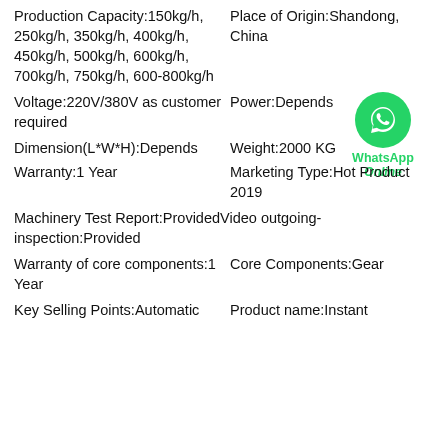Production Capacity:150kg/h, 250kg/h, 350kg/h, 400kg/h, 450kg/h, 500kg/h, 600kg/h, 700kg/h, 750kg/h, 600-800kg/h
Place of Origin:Shandong, China
Voltage:220V/380V as customer required
Power:Depends
Dimension(L*W*H):Depends
Weight:2000 KG
Warranty:1 Year
Marketing Type:Hot Product 2019
Machinery Test Report:ProvidedVideo outgoing-inspection:Provided
Warranty of core components:1 Year
Core Components:Gear
Key Selling Points:Automatic
Product name:Instant
[Figure (logo): WhatsApp Online green circular badge with phone icon and WhatsApp Online text]